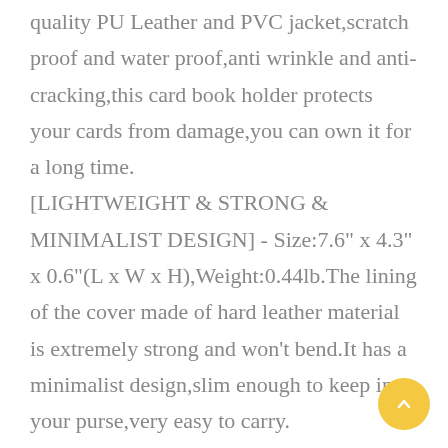quality PU Leather and PVC jacket,scratch proof and water proof,anti wrinkle and anti-cracking,this card book holder protects your cards from damage,you can own it for a long time. [LIGHTWEIGHT & STRONG & MINIMALIST DESIGN] - Size:7.6" x 4.3" x 0.6"(L x W x H),Weight:0.44lb.The lining of the cover made of hard leather material is extremely strong and won't bend.It has a minimalist design,slim enough to keep in your purse,very easy to carry.